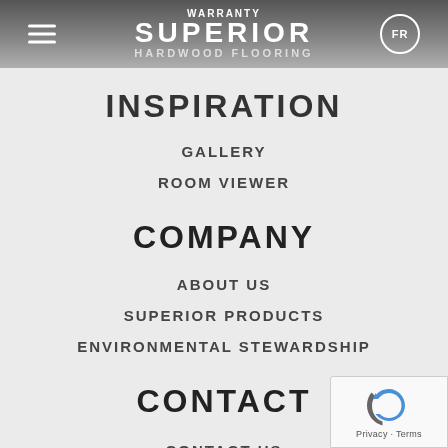WARRANTY | SUPERIOR HARDWOOD FLOORING | FR
INSPIRATION
GALLERY
ROOM VIEWER
COMPANY
ABOUT US
SUPERIOR PRODUCTS
ENVIRONMENTAL STEWARDSHIP
CONTACT
CONTACT US